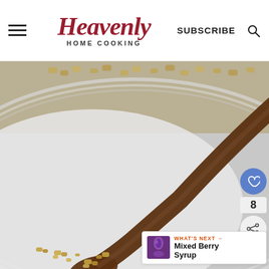Heavenly HOME COOKING | SUBSCRIBE
[Figure (photo): Close-up photo of a wooden spoon with granola/oats on and around it, and a white plate in the background also with granola. Soft-focus food photography on a marble surface.]
8
WHAT'S NEXT → Mixed Berry Syrup